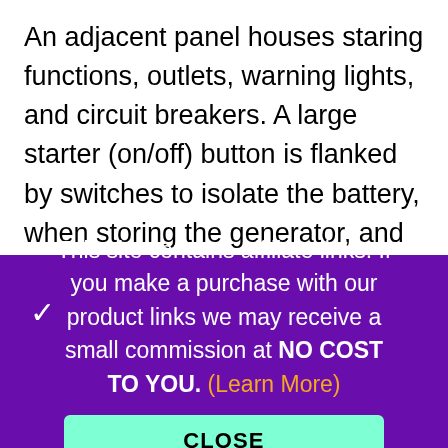An adjacent panel houses staring functions, outlets, warning lights, and circuit breakers. A large starter (on/off) button is flanked by switches to isolate the battery, when storing the generator, and an idle control switch. When you switch the idle control to the on position, it reduces the engine speed when the generator is not supplying any load. Thereby saving fuel and reducing the noise. Routine maintenance is made easy with an accessible air filter, oil filler, and
This site contains affiliate links. If you make a purchase with our product links we may receive a small commission at NO COST TO YOU. (Learn More)
CLOSE